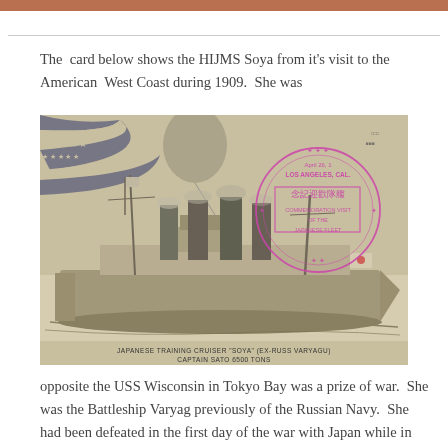The card below shows the HIJMS Soya from it's visit to the American West Coast during 1909. She was
[Figure (photo): Vintage postcard photograph of the Japanese Training Cruiser 'Soya' (formerly Varyag), showing a warship with four smokestacks on calm water. The card bears an American flag illustration in the top-left corner and a circular pink commemorative stamp from Los Angeles reading 'April 26, 19[09] LOS ANGELES, CAL.' with Japanese characters and 'COMMEMORATION VISIT OF THE JAPANESE FLEET'. Caption at bottom reads: JAPANESE TRAINING CRUISER 'SOYA' (EX-RUSS VARYAGU) / CAPTAIN SATO  6500 TONS]
opposite the USS Wisconsin in Tokyo Bay was a prize of war. She was the Battleship Varyag previously of the Russian Navy. She had been defeated in the first day of the war with Japan while in Chemulpo Bay, Korea.